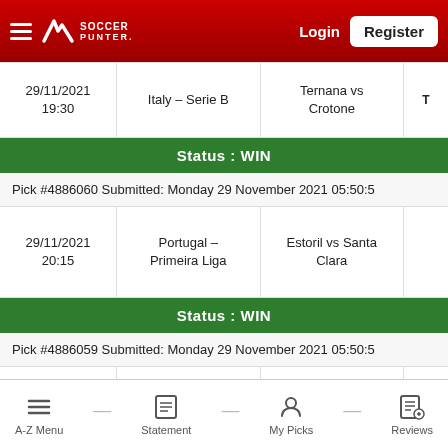[Figure (screenshot): SoccerPunter website header with logo, Login and Register buttons on red gradient background]
| Date/Time | League | Match |  |
| --- | --- | --- | --- |
| 29/11/2021 19:30 | Italy - Serie B | Ternana vs Crotone | T |
Status : WIN
Pick #4886060 Submitted: Monday 29 November 2021 05:50:5
| Date/Time | League | Match |  |
| --- | --- | --- | --- |
| 29/11/2021 20:15 | Portugal - Primeira Liga | Estoril vs Santa Clara |  |
Status : WIN
Pick #4886059 Submitted: Monday 29 November 2021 05:50:5
| Date/Time | League | Match |  |
| --- | --- | --- | --- |
| 29/11/2021 20:15 | Portugal - Primeira Liga | Estoril vs Santa Clara |  |
A-Z Menu — Statement — My Picks — Reviews